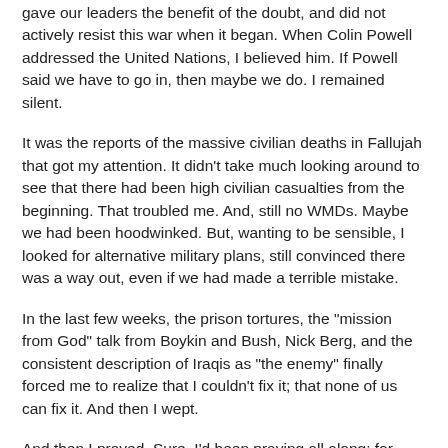gave our leaders the benefit of the doubt, and did not actively resist this war when it began. When Colin Powell addressed the United Nations, I believed him. If Powell said we have to go in, then maybe we do. I remained silent.
It was the reports of the massive civilian deaths in Fallujah that got my attention. It didn't take much looking around to see that there had been high civilian casualties from the beginning. That troubled me. And, still no WMDs. Maybe we had been hoodwinked. But, wanting to be sensible, I looked for alternative military plans, still convinced there was a way out, even if we had made a terrible mistake.
In the last few weeks, the prison tortures, the "mission from God" talk from Boykin and Bush, Nick Berg, and the consistent description of Iraqis as "the enemy" finally forced me to realize that I couldn't fix it; that none of us can fix it. And then I wept.
And then I prayed. Sure, I'd been praying all along; for those in danger, both American and Iraqi. But those prayers were more like asking for God's sanction of what was happening